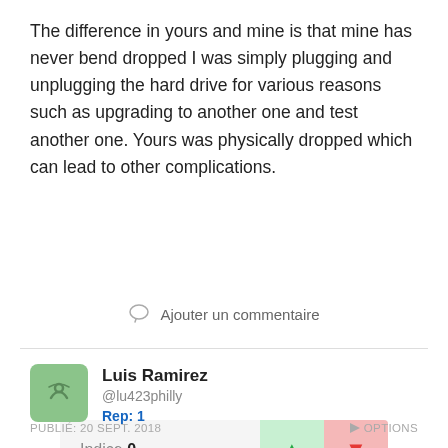The difference in yours and mine is that mine has never bend dropped I was simply plugging and unplugging the hard drive for various reasons such as upgrading to another one and test another one. Yours was physically dropped which can lead to other complications.
Indice 0
Ajouter un commentaire
Luis Ramirez
@lu423philly
Rep: 1
PUBLIÉ: 20 SEPT. 2018    OPTIONS